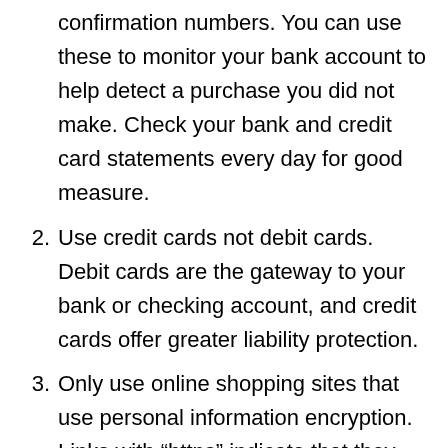confirmation numbers. You can use these to monitor your bank account to help detect a purchase you did not make. Check your bank and credit card statements every day for good measure.
2. Use credit cards not debit cards. Debit cards are the gateway to your bank or checking account, and credit cards offer greater liability protection.
3. Only use online shopping sites that use personal information encryption. Links with “https” indicate that they have encryption protection in place. That’s a